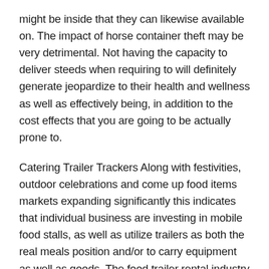might be inside that they can likewise available on. The impact of horse container theft may be very detrimental. Not having the capacity to deliver steeds when requiring to will definitely generate jeopardize to their health and wellness as well as effectively being, in addition to the cost effects that you are going to be actually prone to.
Catering Trailer Trackers Along with festivities, outdoor celebrations and come up food items markets expanding significantly this indicates that individual business are investing in mobile food stalls, as well as utilize trailers as both the real meals position and/or to carry equipment as well as goods. The food trailer rental industry is also developing considerably, specifically along with the short-lived